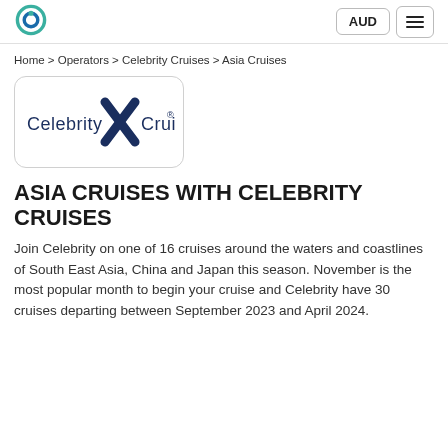AUD [menu]
Home > Operators > Celebrity Cruises > Asia Cruises
[Figure (logo): Celebrity Cruises logo with large X and text 'Celebrity Cruises ®' in dark navy blue]
ASIA CRUISES WITH CELEBRITY CRUISES
Join Celebrity on one of 16 cruises around the waters and coastlines of South East Asia, China and Japan this season. November is the most popular month to begin your cruise and Celebrity have 30 cruises departing between September 2023 and April 2024.